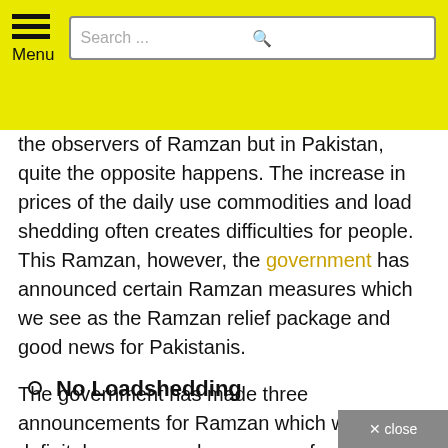Menu  Search ...
the observers of Ramzan but in Pakistan, quite the opposite happens. The increase in prices of the daily use commodities and load shedding often creates difficulties for people. This Ramzan, however, the government has announced certain Ramzan measures which we see as the Ramzan relief package and good news for Pakistanis.
The government has made three announcements for Ramzan which will definitely appear as happy news for all the Pakistanis. If not all but a few of their problems will be solved.
No Loadshedding